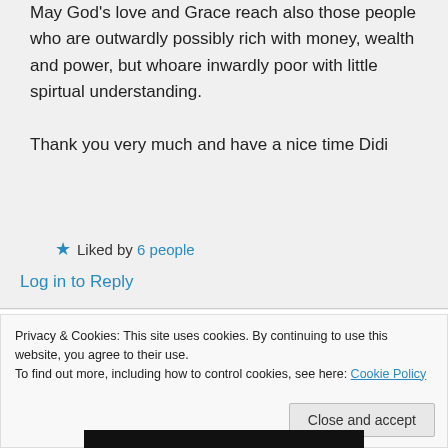May God's love and Grace reach also those people who are outwardly possibly rich with money, wealth and power, but whoare inwardly poor with little spirtual understanding.

Thank you very much and have a nice time Didi
★ Liked by 6 people
Log in to Reply
Privacy & Cookies: This site uses cookies. By continuing to use this website, you agree to their use.
To find out more, including how to control cookies, see here: Cookie Policy
Close and accept